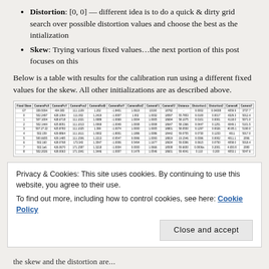Distortion: [0, 0] — different idea is to do a quick & dirty grid search over possible distortion values and choose the best as the intialization
Skew: Trying various fixed values…the next portion of this post focuses on this
Below is a table with results for the calibration run using a different fixed values for the skew. All other initializations are as described above.
| Fixed Skew | CameraPoX | CameraPoY | CameraPos2 | CameraRotB | CameraRotY | CameraRotZ | CameraF1 | CameraF2 | Distance | Distortion1 | Distortion2 | CameraK | CameraY |
| --- | --- | --- | --- | --- | --- | --- | --- | --- | --- | --- | --- | --- | --- |
| GT | 339.5094 | 404.383 | 111.1109 | 1.202 | -1.8401 | 1.0619 | 10190 | 18782 | - | 0.0002 | 0.04008 | 4059.9 | 3737.7 |
| 0 | 502.2497 | 428.1094 | 111.002 | 1.2419 | -1.0007 | 1.002 | 1.0032 | 18597 | 55.7853 | 0.0100 | 0.0017 | 4329.3 | 5012.4 |
| 1 | 507.1004 | 428.6718 | 111.1021 | 1.0089 | -1.0069 | 1.0004 | 1.0005 | 18694 | 58.1075 | 0.0101 | 0.0001 | 4118.0 | 5071.0 |
| 2 | 502.1444 | 425.8051 | 111.1013 | 1.0069 | -1.0049 | 1.0008 | 1.0008 | 18647 | 58.1366 | 0.0447 | 0.1251 | 4049.1 | 5101.5 |
| 3 | 507.27.22 | 425.8783 | 111.1025 | 1.399 | -1.0074 | 1.0000 | 1.0005 | 18801 | 58.0550 | 0.1297 | 0.0026 | 40.85.1 | 5190.0 |
| 4 | 502.159 | 429.8864 | 111.1611 | 1.0002 | -1.8001 | 1.1886 | 1.0086 | 18442 | 59.0755 | 0.0730 | 0.1233 | 4011 | 5017.0 |
| 5 | 500.6655 | 429.1485 | 111.1506 | 1.2213 | -0.9547 | 0.0996 | 1.0093 | 18819 | 19.1546 | 0.0396 | 0.0002 | 4011.1 | 2096 |
| 6 | 502.160 | 428.0768 | 173.343 | 1.3547 | -1.0006 | 0.5494 | 1.1677 | 18634 | 59.0396 | 0.0615 | 0.0750 | 4058.0 | 5018.4 |
| 7 | 502.1e6 | 426.0670 | 171.1587 | 1.3218 | -1.0004 | 0.0000 | 1.0666 | 18508 | 59.6650 | 0.0006a | 0.2001 | 4.650.8 | 2080 |
| 8 | 502.2026 | 428.0063 | 171.1941 | 1.3446 | -1.0007 | 0.1478 | 1.0546 | 18601 | 59.4041 | 0.110 | 0.200 | 4053.1 | 5047.6 |
Privacy & Cookies: This site uses cookies. By continuing to use this website, you agree to their use. To find out more, including how to control cookies, see here: Cookie Policy
Close and accept
the skew and the distortion are...